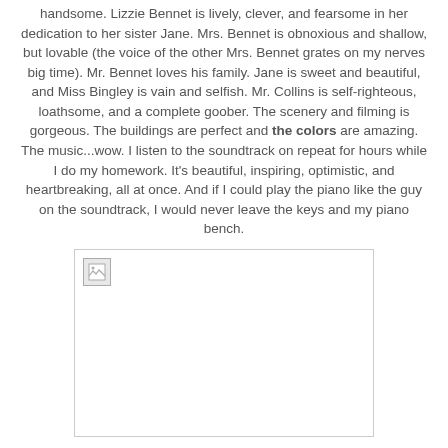handsome. Lizzie Bennet is lively, clever, and fearsome in her dedication to her sister Jane. Mrs. Bennet is obnoxious and shallow, but lovable (the voice of the other Mrs. Bennet grates on my nerves big time). Mr. Bennet loves his family. Jane is sweet and beautiful, and Miss Bingley is vain and selfish. Mr. Collins is self-righteous, loathsome, and a complete goober. The scenery and filming is gorgeous. The buildings are perfect and the colors are amazing. The music...wow. I listen to the soundtrack on repeat for hours while I do my homework. It's beautiful, inspiring, optimistic, and heartbreaking, all at once. And if I could play the piano like the guy on the soundtrack, I would never leave the keys and my piano bench.
[Figure (photo): A broken/missing image placeholder shown as a small icon in the top-left corner of a white rectangle with a light gray border.]